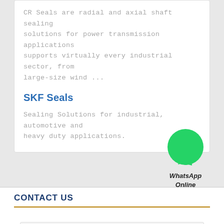CR Seals are radial and axial shaft sealing solutions for power transmission applications supports virtually every industrial sector, from large-size wind ...
SKF Seals
Sealing Solutions for industrial, automotive and heavy duty applications.
[Figure (logo): WhatsApp green speech bubble icon with white phone handset]
WhatsApp Online
CONTACT US
[Figure (logo): Cr Seals LTD logo: dark navy arc and letter M shape on white background]
Cr Seals LTD